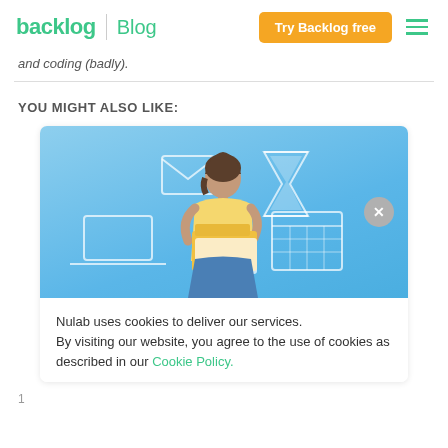backlog Blog | Try Backlog free
and coding (badly).
YOU MIGHT ALSO LIKE:
[Figure (illustration): Blog card with illustration of a woman holding folders, surrounded by icons (email, hourglass, laptop, calendar) on a blue background. An X close button is visible on the right side.]
Nulab uses cookies to deliver our services. By visiting our website, you agree to the use of cookies as described in our Cookie Policy.